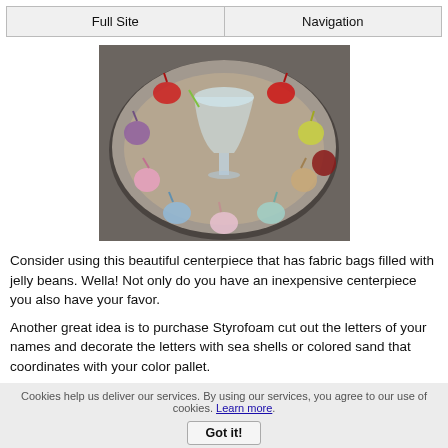Full Site | Navigation
[Figure (photo): A decorative centerpiece on a round plate with small colorful fabric bags filled with jelly beans arranged in a circle, with a clear glass in the center.]
Consider using this beautiful centerpiece that has fabric bags filled with jelly beans. Wella! Not only do you have an inexpensive centerpiece you also have your favor.
Another great idea is to purchase Styrofoam cut out the letters of your names and decorate the letters with sea shells or colored sand that coordinates with your color pallet.
Cookies help us deliver our services. By using our services, you agree to our use of cookies. Learn more.